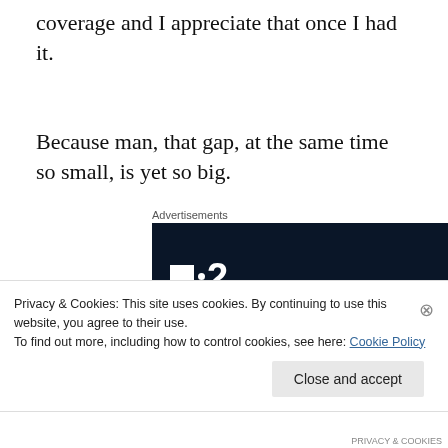coverage and I appreciate that once I had it.
Because man, that gap, at the same time so small, is yet so big.
Advertisements
[Figure (logo): Dark navy advertisement banner with a white square and dot logo followed by the number 2 in white bold text]
Privacy & Cookies: This site uses cookies. By continuing to use this website, you agree to their use.
To find out more, including how to control cookies, see here: Cookie Policy
Close and accept
PRIVACY & COOKIES